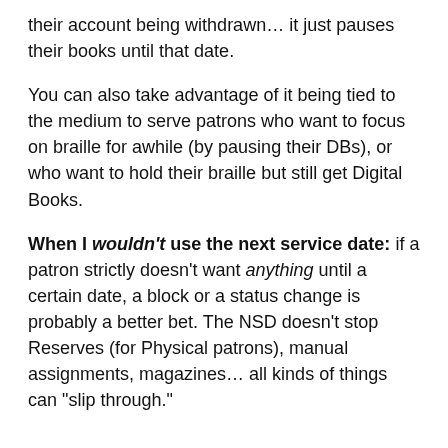their account being withdrawn… it just pauses their books until that date.
You can also take advantage of it being tied to the medium to serve patrons who want to focus on braille for awhile (by pausing their DBs), or who want to hold their braille but still get Digital Books.
When I wouldn't use the next service date: if a patron strictly doesn't want anything until a certain date, a block or a status change is probably a better bet. The NSD doesn't stop Reserves (for Physical patrons), manual assignments, magazines… all kinds of things can "slip through."